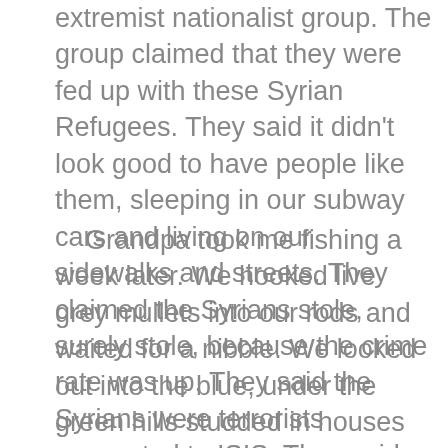extremist nationalist group. The group claimed that they were fed up with these Syrian Refugees. They said it didn't look good to have people like them, sleeping in our subway cars and living on our sidewalks and streets. They claimed the Syrians stole, surely stole, because the crime rate was up. They said the Syrians were terrorists connected to ISIS. They said that bombing them was the only way to prevent being bombed.
Grandpa took me fishing a week later. We hooked live grey mullets into our rods and waited for a nibble. We looked out into the blue, under the green hills studded in houses and the translucent mist that hung around, unsure. We watched the wooden fishing boats, the coast guards and the yachts move with confidence over crooked waves. It was a good day for fishing. Grandpa caught many sea bass and threw them into the catch-bucket. I